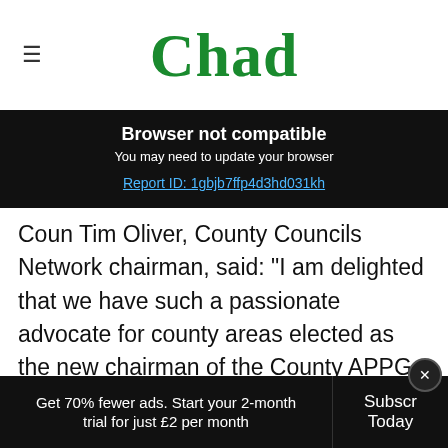Chad
Browser not compatible
You may need to update your browser
Report ID: 1gbjb7ffp4d3hd031kh
Coun Tim Oliver, County Councils Network chairman, said: “I am delighted that we have such a passionate advocate for county areas elected as the new chairman of the County APPG.
“I look forward to progressing the county
Get 70% fewer ads. Start your 2-month trial for just £2 per month   Subscribe Today